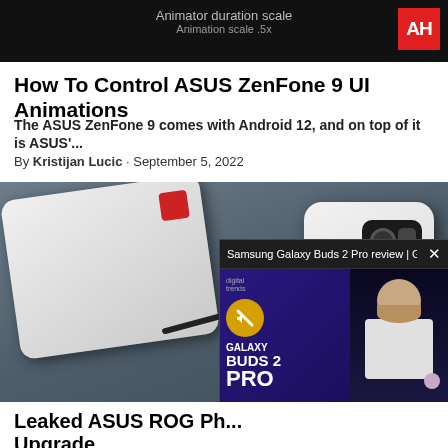[Figure (screenshot): Top portion of a phone screen showing animation duration scale settings, with AH logo in top right corner]
How To Control ASUS ZenFone 9 UI Animations
The ASUS ZenFone 9 comes with Android 12, and on top of it is ASUS'...
By Kristijan Lucic · September 5, 2022
[Figure (photo): ASUS ROG Phone charger and ROG phone on fabric background, with Samsung Galaxy Buds 2 Pro review video popup overlay in bottom right]
Leaked ASUS ROG Ph... Upgrade